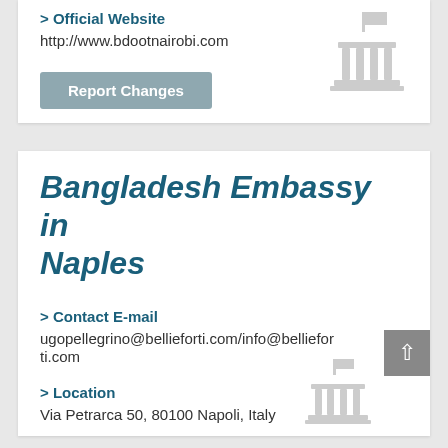> Official Website
http://www.bdootnairobi.com
[Figure (illustration): Embassy building icon with flag, light grey]
Report Changes
Bangladesh Embassy in Naples
> Contact E-mail
ugopellegrino@bellieforti.com/info@bellieforti.com
> Location
Via Petrarca 50, 80100 Napoli, Italy
[Figure (illustration): Embassy building icon with flag, light grey, bottom right]